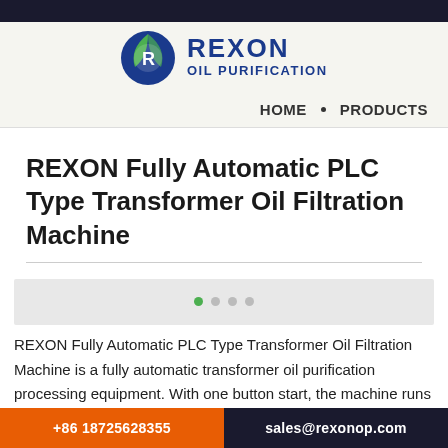[Figure (logo): REXON Oil Purification logo with circular blue and green emblem and bold blue text reading REXON OIL PURIFICATION]
HOME • PRODUCTS
REXON Fully Automatic PLC Type Transformer Oil Filtration Machine
[Figure (other): Slideshow image area for REXON Fully Automatic PLC Type Transformer Oil Filtration Machine with 4 navigation dots]
REXON Fully Automatic PLC Type Transformer Oil Filtration Machine is a fully automatic transformer oil purification processing equipment. With one button start, the machine runs automatically.
+86 18725628355    sales@rexonop.com